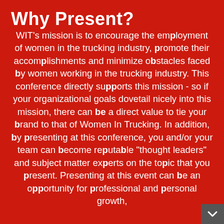Why Present?
WIT's mission is to encourage the employment of women in the trucking industry, promote their accomplishments and minimize obstacles faced by women working in the trucking industry. This conference directly supports this mission - so if your organizational goals dovetail nicely into this mission, there can be a direct value to tie your brand to that of Women In Trucking. In addition, by presenting at this conference, you and/or your team can become reputable "thought leaders" and subject matter experts on the topic that you present. Presenting at this event can be an opportunity for professional and personal growth,